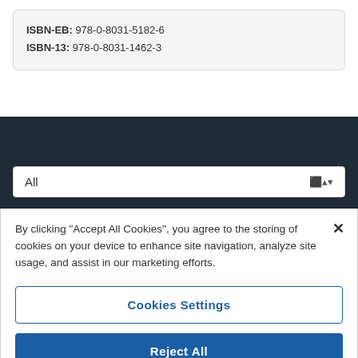ISBN-EB: 978-0-8031-5182-6
ISBN-13: 978-0-8031-1462-3
[Figure (screenshot): Dropdown selector showing 'All' with up/down arrow on dark navy background]
By clicking "Accept All Cookies", you agree to the storing of cookies on your device to enhance site navigation, analyze site usage, and assist in our marketing efforts.
Cookies Settings
Reject All